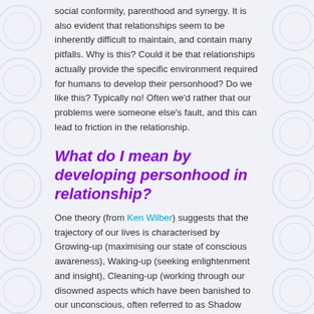social conformity, parenthood and synergy. It is also evident that relationships seem to be inherently difficult to maintain, and contain many pitfalls. Why is this? Could it be that relationships actually provide the specific environment required for humans to develop their personhood? Do we like this? Typically no! Often we'd rather that our problems were someone else's fault, and this can lead to friction in the relationship.
What do I mean by developing personhood in relationship?
One theory (from Ken Wilber) suggests that the trajectory of our lives is characterised by Growing-up (maximising our state of conscious awareness), Waking-up (seeking enlightenment and insight), Cleaning-up (working through our disowned aspects which have been banished to our unconscious, often referred to as Shadow work) and Showing-up (bringing our gifts to the service of mankind). Some people are motivated